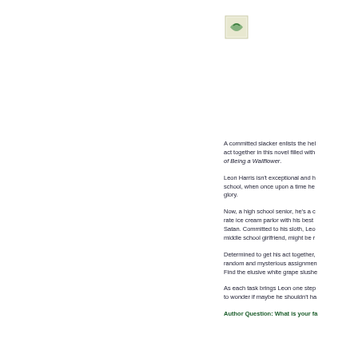[Figure (logo): Small book/image logo icon in upper right area]
A committed slacker enlists the help to act together in this novel filled with of Being a Wallflower.
Leon Harris isn't exceptional and h school, when once upon a time he glory.
Now, a high school senior, he's a c rate ice cream parlor with his best Satan. Committed to his sloth, Leo middle school girlfriend, might be r
Determined to get his act together, random and mysterious assignmen Find the elusive white grape slushe
As each task brings Leon one step to wonder if maybe he shouldn't ha
Author Question: What is your fa